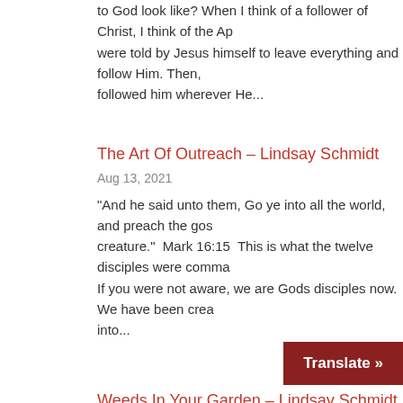to God look like? When I think of a follower of Christ, I think of the Ap were told by Jesus himself to leave everything and follow Him. Then, followed him wherever He...
The Art Of Outreach – Lindsay Schmidt
Aug 13, 2021
“And he said unto them, Go ye into all the world, and preach the gos creature.”  Mark 16:15  This is what the twelve disciples were comma If you were not aware, we are Gods disciples now. We have been crea into...
Weeds In Your Garden – Lindsay Schmidt
Jul 30, 2021
The other day I was outside in my garden pulling weeds and I said to weeds are growing faster than my flowers a